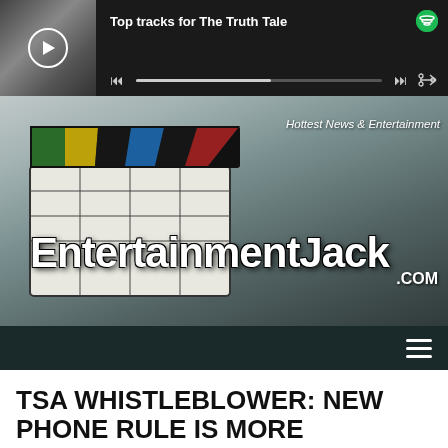[Figure (screenshot): Spotify player widget showing 'Top tracks for The Truth Tale' with play controls and progress bar]
[Figure (logo): EntertainmentJack.com banner with clapperboard image and tagline 'Hottest News & Entertainment']
[Figure (screenshot): Dark navigation bar with hamburger menu icon]
TSA WHISTLEBLOWER: NEW PHONE RULE IS MORE SECURITY THEATER, WILL MAKE FLIERS LESS SAFE
July 8, 2014  admin